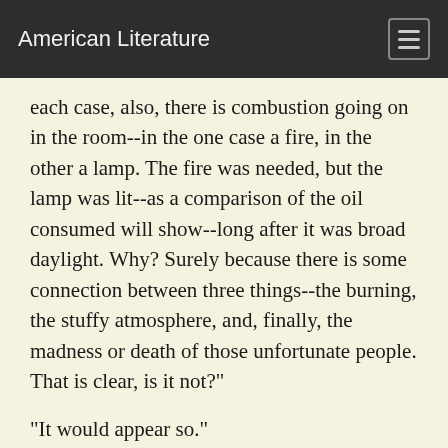American Literature
each case, also, there is combustion going on in the room--in the one case a fire, in the other a lamp. The fire was needed, but the lamp was lit--as a comparison of the oil consumed will show--long after it was broad daylight. Why? Surely because there is some connection between three things--the burning, the stuffy atmosphere, and, finally, the madness or death of those unfortunate people. That is clear, is it not?"
"It would appear so."
"At least we may accept it as a working hypothesis. We will suppose, then, that something was burned